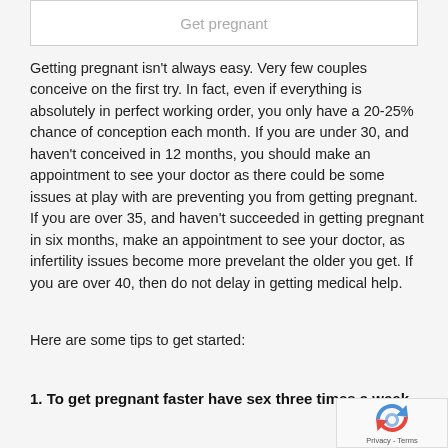Get pregnant
Getting pregnant isn't always easy. Very few couples conceive on the first try. In fact, even if everything is absolutely in perfect working order, you only have a 20-25% chance of conception each month. If you are under 30, and haven't conceived in 12 months, you should make an appointment to see your doctor as there could be some issues at play with are preventing you from getting pregnant. If you are over 35, and haven't succeeded in getting pregnant in six months, make an appointment to see your doctor, as infertility issues become more prevelant the older you get. If you are over 40, then do not delay in getting medical help.
Here are some tips to get started:
1. To get pregnant faster have sex three times a week